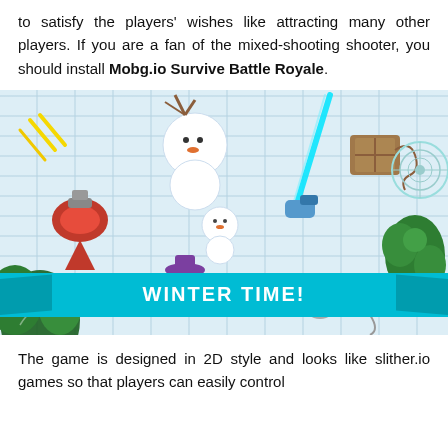to satisfy the players' wishes like attracting many other players. If you are a fan of the mixed-shooting shooter, you should install Mobg.io Survive Battle Royale.
[Figure (screenshot): Screenshot of Mobg.io Survive Battle Royale game showing 2D top-down winter-themed battle royale gameplay with various cartoon characters on a brick/ice background, with a teal banner at the bottom reading WINTER TIME!]
The game is designed in 2D style and looks like slither.io games so that players can easily control